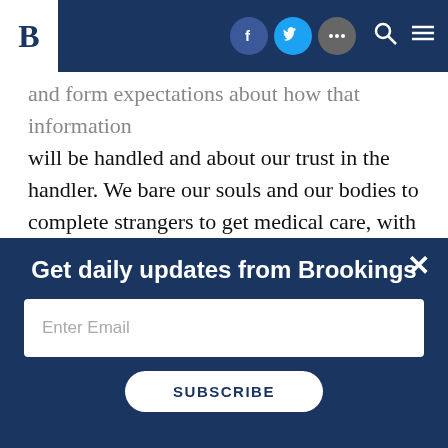B [Brookings logo header with social icons: Facebook, Twitter, more, Search, Menu]
and form expectations about how that information will be handled and about our trust in the handler. We bare our souls and our bodies to complete strangers to get medical care, with the understanding that this information will be handled with great care and shared with strangers only to the extent needed to provide care. We share location information with ride-sharing and navigation apps
Get daily updates from Brookings
Enter Email
SUBSCRIBE